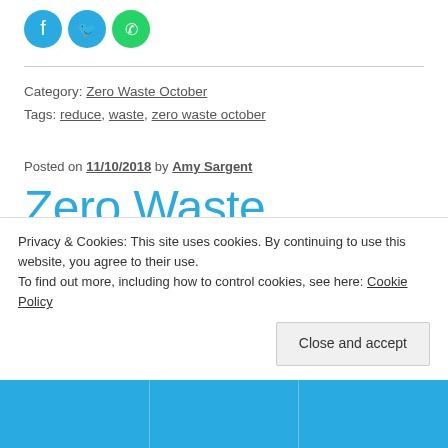[Figure (other): Three social media share icons: Facebook (blue circle), Twitter (blue circle), WhatsApp (green circle)]
Category: Zero Waste October
Tags: reduce, waste, zero waste october
Posted on 11/10/2018 by Amy Sargent
Zero Waste October – Refuse
Privacy & Cookies: This site uses cookies. By continuing to use this website, you agree to their use. To find out more, including how to control cookies, see here: Cookie Policy
Close and accept